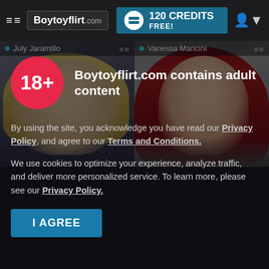≡≡ Boytoyflirt.com | 120 CREDITS FREE!
[Figure (screenshot): Two live cam thumbnails: July Jaramillo (blonde woman) on the left, Vanessa Mancini (red-haired woman) on the right]
[Figure (infographic): Age verification modal overlay with 18+ circle badge and adult content warning]
Boytoyflirt.com contains adult content
By using the site, you acknowledge you have read our Privacy Policy, and agree to our Terms and Conditions.
We use cookies to optimize your experience, analyze traffic, and deliver more personalized service. To learn more, please see our Privacy Policy.
I AGREE